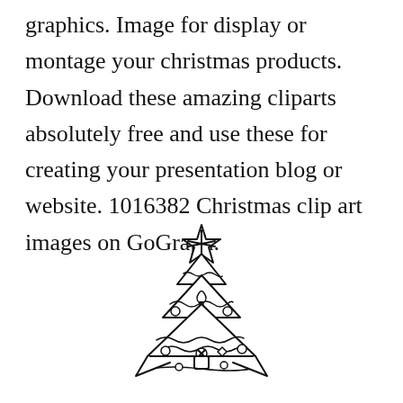graphics. Image for display or montage your christmas products. Download these amazing cliparts absolutely free and use these for creating your presentation blog or website. 1016382 Christmas clip art images on GoGraph.
[Figure (illustration): Black and white line drawing of a decorated Christmas tree with a star on top, garlands, ornaments, and a bell.]